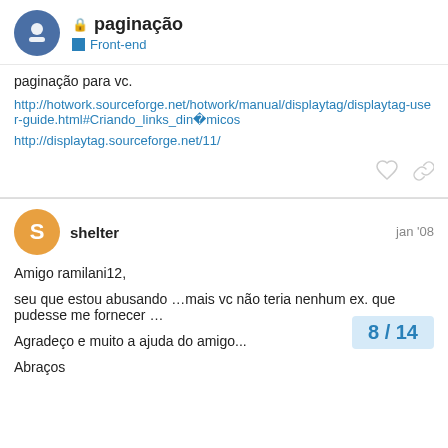paginação — Front-end
paginação para vc.
http://hotwork.sourceforge.net/hotwork/manual/displaytag/displaytag-user-guide.html#Criando_links_dinâmicos
http://displaytag.sourceforge.net/11/
shelter — jan '08
Amigo ramilani12,
seu que estou abusando …mais vc não teria nenhum ex. que pudesse me fornecer …
Agradeço e muito a ajuda do amigo...
Abraços
8 / 14